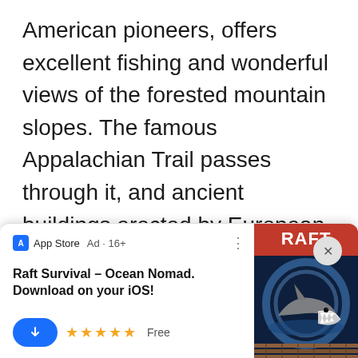American pioneers, offers excellent fishing and wonderful views of the forested mountain slopes. The famous Appalachian Trail passes through it, and ancient buildings erected by European settlers at the beginning of the 19th century have been preserved in the Cades Cove valley.
[Figure (screenshot): Mobile app advertisement card for 'Raft Survival - Ocean Nomad' on App Store. Shows App Store logo, Ad label, 16+ rating, title text, 5-star rating, Free label, download button, and a game thumbnail showing a shark with 'RAFT' text on red background.]